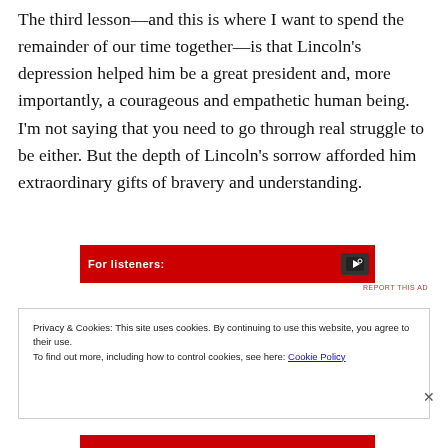The third lesson—and this is where I want to spend the remainder of our time together—is that Lincoln's depression helped him be a great president and, more importantly, a courageous and empathetic human being. I'm not saying that you need to go through real struggle to be either. But the depth of Lincoln's sorrow afforded him extraordinary gifts of bravery and understanding.
[Figure (other): Red advertisement banner with white text reading 'For listeners:' and a device icon on the right]
REPORT THIS AD
Privacy & Cookies: This site uses cookies. By continuing to use this website, you agree to their use. To find out more, including how to control cookies, see here: Cookie Policy
Close and accept